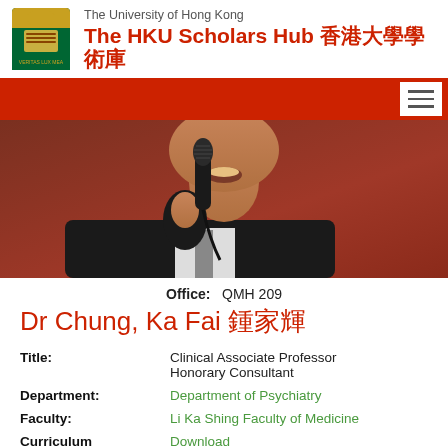The University of Hong Kong — The HKU Scholars Hub 香港大學學術庫
[Figure (photo): Close-up photo of a man in a dark suit holding a microphone, speaking at an event, with a reddish background.]
Office: QMH 209
Dr Chung, Ka Fai 鍾家輝
| Field | Value |
| --- | --- |
| Title: | Clinical Associate Professor
Honorary Consultant |
| Department: | Department of Psychiatry |
| Faculty: | Li Ka Shing Faculty of Medicine |
| Curriculum Vitae: | Download |